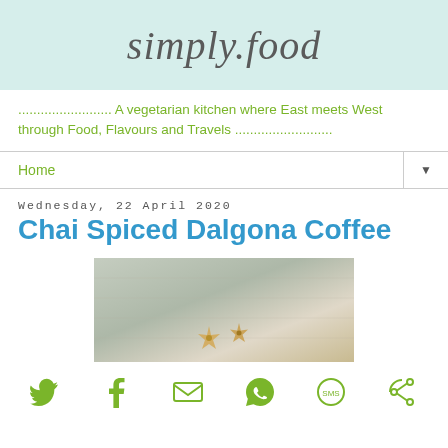simply.food
......................... A vegetarian kitchen where East meets West through Food, Flavours and Travels ..........................
Home
Wednesday, 22 April 2020
Chai Spiced Dalgona Coffee
[Figure (photo): Food photo with text overlay reading 'Chai Spiced Dalgona Coffee' on a light wooden background with star anise spices visible]
Social share icons: Twitter, Facebook, Email, WhatsApp, SMS, Other